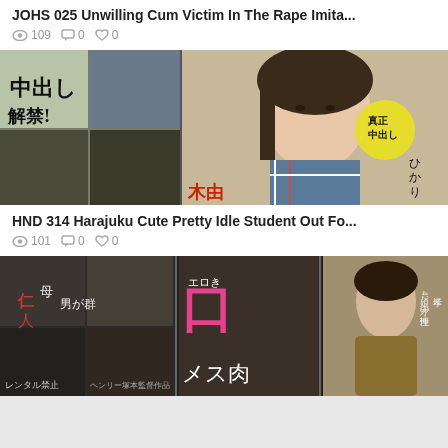JOHS 025 Unwilling Cum Victim In The Rape Imita...
👁 109  💬 0  🤍 0
[Figure (photo): DVD cover collage image for HND 314 showing a young woman in a plaid shirt with Japanese text]
HND 314 Harajuku Cute Pretty Idle Student Out Fo...
👁 101  💬 0  🤍 0
[Figure (photo): DVD cover collage image with Japanese text and woman in gold dress]